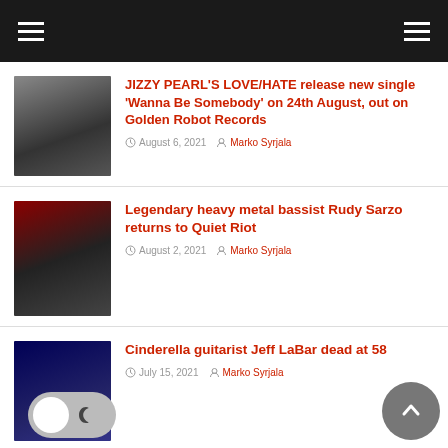JIZZY PEARL'S LOVE/HATE release new single 'Wanna Be Somebody' on 24th August, out on Golden Robot Records
August 6, 2021  Marko Syrjala
Legendary heavy metal bassist Rudy Sarzo returns to Quiet Riot
August 2, 2021  Marko Syrjala
Cinderella guitarist Jeff LaBar dead at 58
July 15, 2021  Marko Syrjala